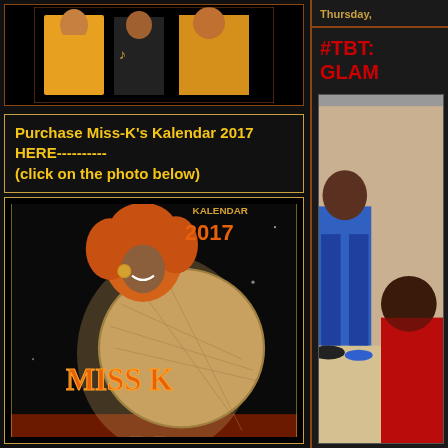[Figure (photo): Top image showing performers/models in colorful outfits on dark background]
Purchase Miss-K's Kalendar 2017 HERE---------- (click on the photo below)
[Figure (photo): Miss K Kompilation Kalendar 2017 cover - woman with big afro hair holding large round wicker hat, exklusive edition]
Thursday,
#TBT: GLAM
[Figure (photo): Right sidebar photo showing people at an event, man in blue suit and woman in red dress]